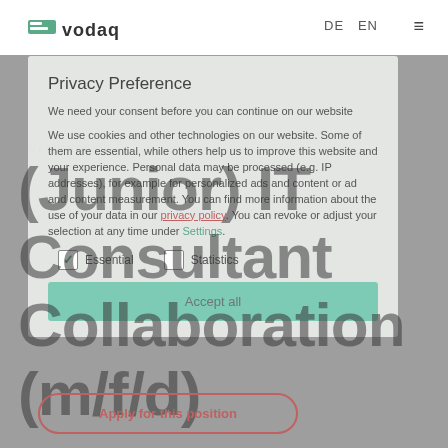[Figure (screenshot): Avodaq website with privacy preference cookie consent modal dialog overlaid on a job listing page for (Junior) IT Consultant Collaboration (m/f/d). The modal contains privacy preference text, essential and statistics checkboxes, and an Accept all button. Behind the modal, large gray text shows the job title. A red-outlined Apply for this position button appears at the bottom.]
avodaq   DE  EN  ≡
Privacy Preference
We need your consent before you can continue on our website
NATION WIDE
We use cookies and other technologies on our website. Some of them are essential, while others help us to improve this website and your experience. Personal data may be processed (e.g. IP addresses), for example for personalized ads and content or ad and content measurement. You can find more information about the use of your data in our privacy policy. You can revoke or adjust your selection at any time under Settings.
☑ Essential     □ Statistics
Accept all
(Junior) IT Consultant Collaboration (m/f/d)
Apply for this position